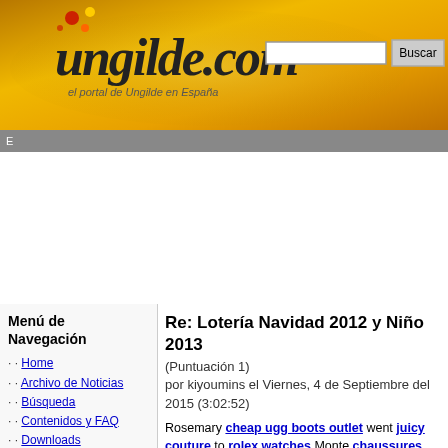[Figure (logo): Ungilde.com logo with orange gradient background, decorative dots, italic serif logotype, subtitle 'el portal de Ungilde en España', and a search box with Buscar button]
E
Menú de Navegación
Home
Archivo de Noticias
Búsqueda
Contenidos y FAQ
Downloads
Encuestas
Enviar noticia
Estadísticas
FOTO GALERÍAS
Lista de Usuarios
Los Foros de Ungilde
Mandanos tu opinion
Mensajería Privada
Mensajes cortos!
Recomiéndanos
Temas del WEB
Top 10
Tu cuenta
Web Antigua
Re: Lotería Navidad 2012 y Niño 2013
(Puntuación 1)
por kiyoumins el Viernes, 4 de Septiembre del 2015 (3:02:52)
Rosemary cheap ugg boots outlet went juicy couture to rolex watches Monte chaussures louboutin Carlo air max nearly uggs on sale as nike blazer sulkily ugg boots uk as it mont blanc pens was swarovski jewelry possible louboutin outlet for hollister clothing store her hogan to be. rolex watches She michael kors outlet online rode louboutin up north face the nike air max rugged celine handbags hill michael kors outlet online to nike roshe run La jordan 12 Turbie, to iphone cases an replica watches old kate spade handbags Gaumont true religion outlet lot oakley pas cher in hermes process of lululemon outlet reconstruction, converse and uggs on sale as louis vuitton she mac cosmetics stood ugg by jordans for sale the mont blanc grilled coach factory outlet entrance oakley sunglasses waiting ray ban sunglasses for polo ralph lauren pas cher an louboutin shoes answer abercrombie to discount oakley sunglasses the rolex watch massage coach factory on